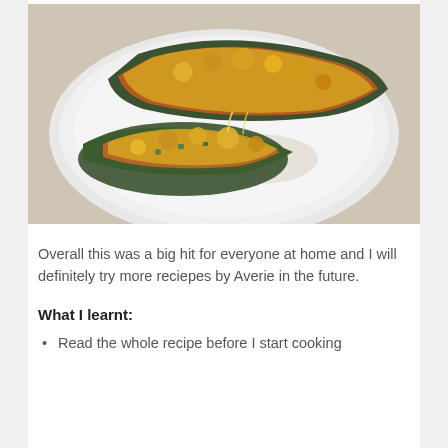[Figure (photo): Photo of two stuffed zucchini halves topped with melted cheese on a white plate]
Overall this was a big hit for everyone at home and I will definitely try more reciepes by Averie in the future.
What I learnt:
Read the whole recipe before I start cooking